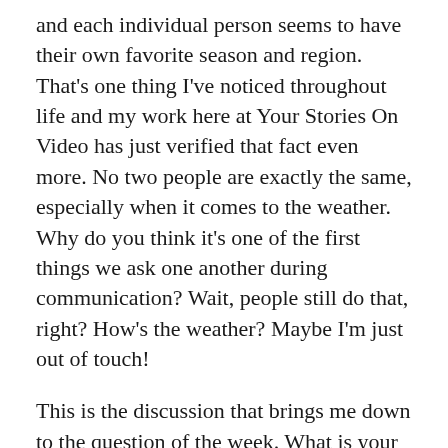and each individual person seems to have their own favorite season and region. That's one thing I've noticed throughout life and my work here at Your Stories On Video has just verified that fact even more. No two people are exactly the same, especially when it comes to the weather. Why do you think it's one of the first things we ask one another during communication? Wait, people still do that, right? How's the weather? Maybe I'm just out of touch!
This is the discussion that brings me down to the question of the week. What is your favorite kind of weather and where did you experience it? Are you one of the lucky ones who lives in the same place where your favorite weather does, or did you have to